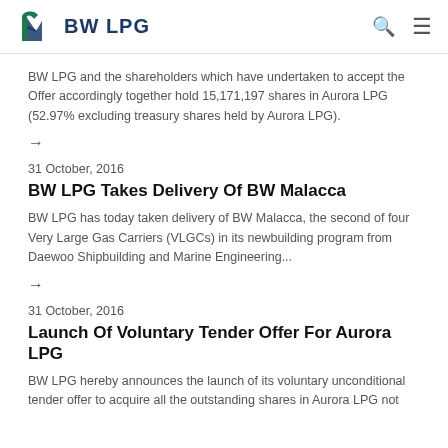BW LPG
BW LPG and the shareholders which have undertaken to accept the Offer accordingly together hold 15,171,197 shares in Aurora LPG (52.97% excluding treasury shares held by Aurora LPG).
→
31 October, 2016
BW LPG Takes Delivery Of BW Malacca
BW LPG has today taken delivery of BW Malacca, the second of four Very Large Gas Carriers (VLGCs) in its newbuilding program from Daewoo Shipbuilding and Marine Engineering...
→
31 October, 2016
Launch Of Voluntary Tender Offer For Aurora LPG
BW LPG hereby announces the launch of its voluntary unconditional tender offer to acquire all the outstanding shares in Aurora LPG not already owned by BW LPG...